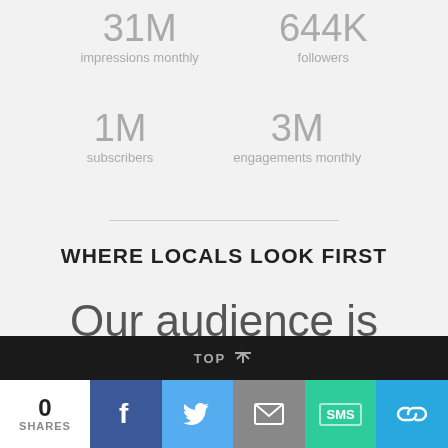31M impressions monthly
644K followers
1M subscribers
3M engagements monthly
WHERE LOCALS LOOK FIRST
Our audience is vocal, social and looks to us as the
TOP | 0 SHARES | Facebook | Twitter | Email | SMS | Link